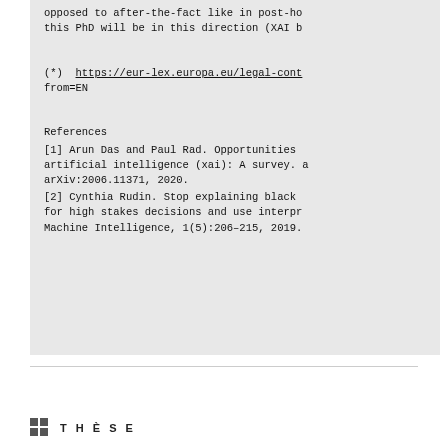opposed to after-the-fact like in post-hoc this PhD will be in this direction (XAI b
(*) https://eur-lex.europa.eu/legal-cont from=EN
References
[1] Arun Das and Paul Rad. Opportunities artificial intelligence (xai): A survey. a arXiv:2006.11371, 2020.
[2] Cynthia Rudin. Stop explaining black for high stakes decisions and use interpr Machine Intelligence, 1(5):206–215, 2019.
THÈSE